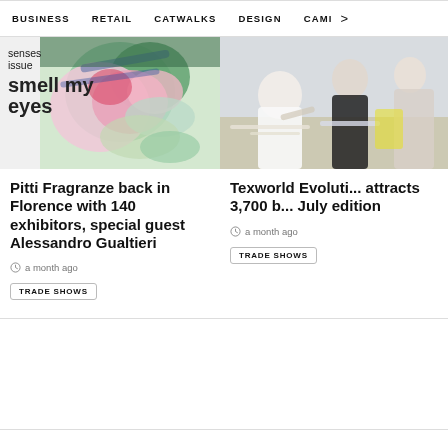BUSINESS   RETAIL   CATWALKS   DESIGN   CAMI >
[Figure (photo): Painted floral artwork with text overlay reading 'senses issue smell my eyes']
Pitti Fragranze back in Florence with 140 exhibitors, special guest Alessandro Gualtieri
a month ago
TRADE SHOWS
[Figure (photo): People at a trade show, leaning over tables examining materials]
Texworld Evoluti... attracts 3,700 b... July edition
a month ago
TRADE SHOWS